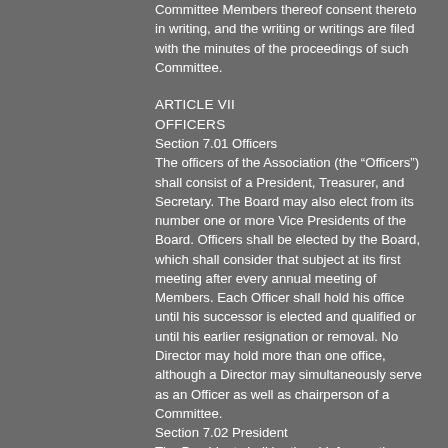Committee Members thereof consent thereto in writing, and the writing or writings are filed with the minutes of the proceedings of such Committee.
ARTICLE VII
OFFICERS
Section 7.01 Officers
The officers of the Association (the “Officers”) shall consist of a President, Treasurer, and Secretary. The Board may also elect from its number one or more Vice Presidents of the Board. Officers shall be elected by the Board, which shall consider that subject at its first meeting after every annual meeting of Members. Each Officer shall hold his office until his successor is elected and qualified or until his earlier resignation or removal. No Director may hold more than one office, although a Director may simultaneously serve as an Officer as well as chairperson of a Committee.
Section 7.02 President
The President shall be the chief executive